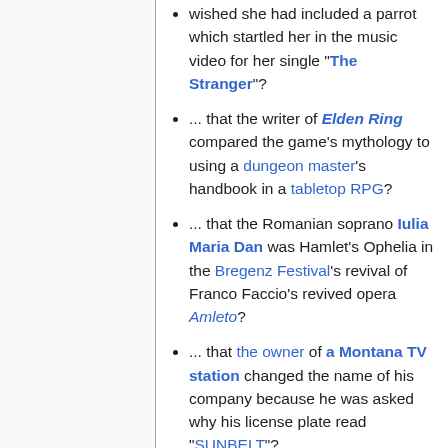wished she had included a parrot which startled her in the music video for her single "The Stranger"?
... that the writer of Elden Ring compared the game's mythology to using a dungeon master's handbook in a tabletop RPG?
... that the Romanian soprano Iulia Maria Dan was Hamlet's Ophelia in the Bregenz Festival's revival of Franco Faccio's revived opera Amleto?
... that the owner of a Montana TV station changed the name of his company because he was asked why his license plate read "SUNBELT"?
00:00, 2 September 2022 (UTC)
... that
[Figure (photo): Interior of a concert hall or auditorium viewed from above, showing rows of seats and a stage with ceiling lights]